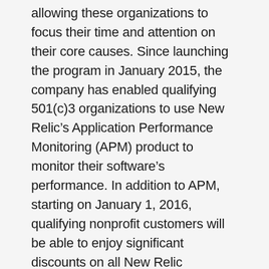allowing these organizations to focus their time and attention on their core causes. Since launching the program in January 2015, the company has enabled qualifying 501(c)3 organizations to use New Relic’s Application Performance Monitoring (APM) product to monitor their software’s performance. In addition to APM, starting on January 1, 2016, qualifying nonprofit customers will be able to enjoy significant discounts on all New Relic products, including Browser, Insights, Mobile and Synthetics.
“We see New Relic’s cloud-based approach to software analytics as cost-efficient and easy-to-use and one that aligns with the structure and needs of so many nonprofits. With the